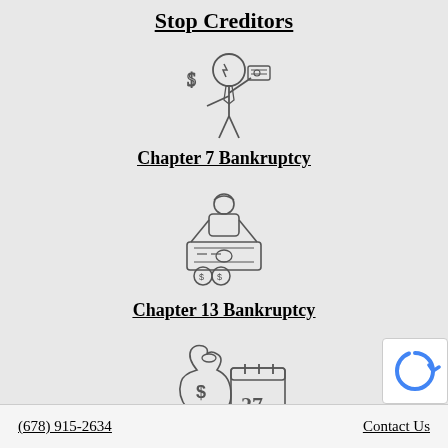Stop Creditors
[Figure (illustration): Line-art icon of a person in a suit holding up money/bills with a dollar sign nearby, representing creditors or debt.]
Chapter 7 Bankruptcy
[Figure (illustration): Line-art icon of a person holding a large banknote/bill with coins showing dollar signs, representing Chapter 13 bankruptcy payment plan.]
Chapter 13 Bankruptcy
[Figure (illustration): Line-art icon of a money bag with a dollar sign next to a calendar showing the number 27, representing debt and scheduled payments.]
(678) 915-2634   Contact Us